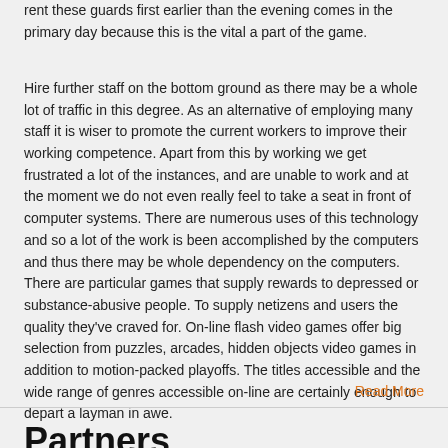rent these guards first earlier than the evening comes in the primary day because this is the vital a part of the game.
Hire further staff on the bottom ground as there may be a whole lot of traffic in this degree. As an alternative of employing many staff it is wiser to promote the current workers to improve their working competence. Apart from this by working we get frustrated a lot of the instances, and are unable to work and at the moment we do not even really feel to take a seat in front of computer systems. There are numerous uses of this technology and so a lot of the work is been accomplished by the computers and thus there may be whole dependency on the computers. There are particular games that supply rewards to depressed or substance-abusive people. To supply netizens and users the quality they've craved for. On-line flash video games offer big selection from puzzles, arcades, hidden objects video games in addition to motion-packed playoffs. The titles accessible and the wide range of genres accessible on-line are certainly enough to depart a layman in awe.
Read More
Partners